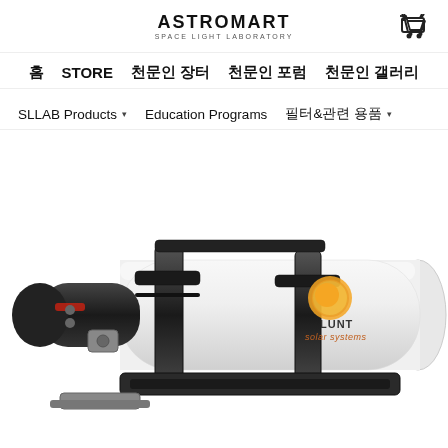ASTROMART SPACE LIGHT LABORATORY
홈  STORE  천문인 장터  천문인 포럼  천문인 갤러리
SLLAB Products ▾   Education Programs   필터&관련 용품 ▾
[Figure (photo): Photo of a Lunt Solar Systems telescope on a mount, white tube with Lunt Solar Systems logo, black mounting rings and hardware.]